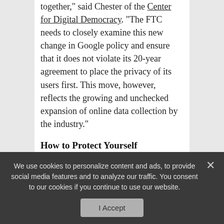together," said Chester of the Center for Digital Democracy. "The FTC needs to closely examine this new change in Google policy and ensure that it does not violate its 20-year agreement to place the privacy of its users first. This move, however, reflects the growing and unchecked expansion of online data collection by the industry."
How to Protect Yourself
The new policy impacts Google+ and will begin Nov. 11. The good news here is that you can protect yourself fairly easily. The bad news: You must opt out. In other words, the default is that everyone is an advertiser.
We use cookies to personalize content and ads, to provide social media features and to analyze our traffic. You consent to our cookies if you continue to use our website.